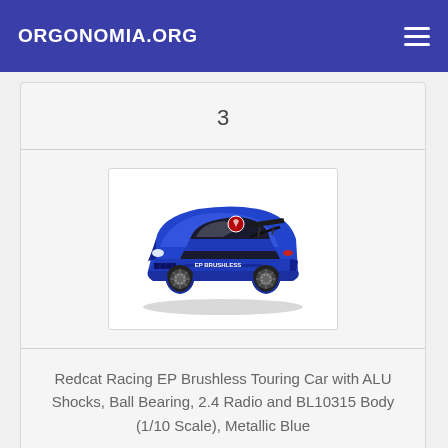ORGONOMIA.ORG
3
[Figure (photo): Blue Redcat Racing EP Brushless Touring RC car, metallic blue body with black spoiler, racing livery, 1/10 scale model on white background]
Redcat Racing EP Brushless Touring Car with ALU Shocks, Ball Bearing, 2.4 Radio and BL10315 Body (1/10 Scale), Metallic Blue
Click Here To Check Price